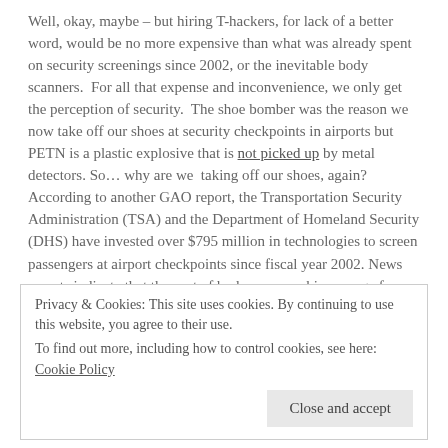Well, okay, maybe – but hiring T-hackers, for lack of a better word, would be no more expensive than what was already spent on security screenings since 2002, or the inevitable body scanners.  For all that expense and inconvenience, we only get the perception of security.  The shoe bomber was the reason we now take off our shoes at security checkpoints in airports but PETN is a plastic explosive that is not picked up by metal detectors. So… why are we  taking off our shoes, again?  According to another GAO report, the Transportation Security Administration (TSA) and the Department of Homeland Security (DHS) have invested over $795 million in technologies to screen passengers at airport checkpoints since fiscal year 2002. News reports indicate that the cost of body scan machines range from 175,000-250,000 each. How many airports are there?  According to the Airports Council International, the United States has over 19,847 airports based on the
Privacy & Cookies: This site uses cookies. By continuing to use this website, you agree to their use.
To find out more, including how to control cookies, see here: Cookie Policy